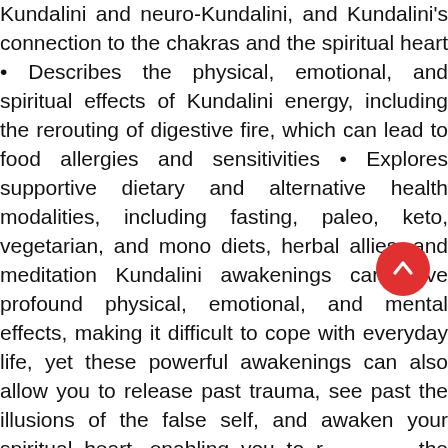Kundalini and neuro-Kundalini, and Kundalini's connection to the chakras and the spiritual heart • Describes the physical, emotional, and spiritual effects of Kundalini energy, including the rerouting of digestive fire, which can lead to food allergies and sensitivities • Explores supportive dietary and alternative health modalities, including fasting, paleo, keto, vegetarian, and mono diets, herbal allies, and meditation Kundalini awakenings can have profound physical, emotional, and mental effects, making it difficult to cope with everyday life, yet these powerful awakenings can also allow you to release past trauma, see past the illusions of the false self, and awaken your spiritual heart, enabling you to recognize the divine self. In this step-by-step guide to the phase process of Kundalini awakening, Mary Shutan delivers practical information on how to deal with such a spiritual emergence in our modern world. Starting with her own
[Figure (other): Red circular scroll-to-top button with upward arrow icon]